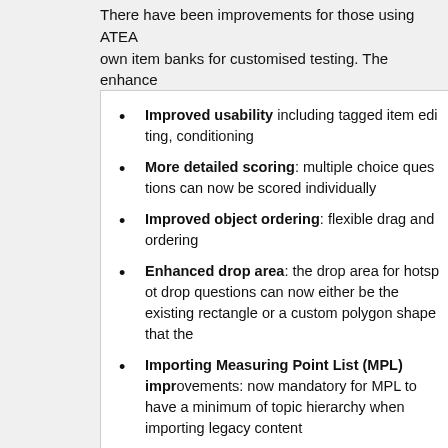There have been improvements for those using ATEA own item banks for customised testing. The enhancements
Improved usability including tagged item editing, conditioning
More detailed scoring: multiple choice questions can now be scored individually
Improved object ordering: flexible drag and drop ordering
Enhanced drop area: the drop area for hotspot drop questions can now either be the existing rectangle or a custom polygon shape that the
Importing Measuring Point List (MPL) improvements: now mandatory for MPL to have a minimum of topic hierarchy when importing legacy content
Improved flexibility in audio administration: administrator can limit the number of times audio is played